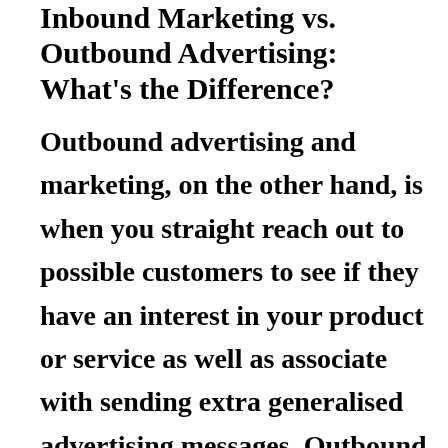Inbound Marketing vs. Outbound Advertising: What's the Difference?
Outbound advertising and marketing, on the other hand, is when you straight reach out to possible customers to see if they have an interest in your product or service as well as associate with sending extra generalised advertising messages. Outbound advertising and marketing includes display advertising, TELEVISION commercials, signboards, as well as more.